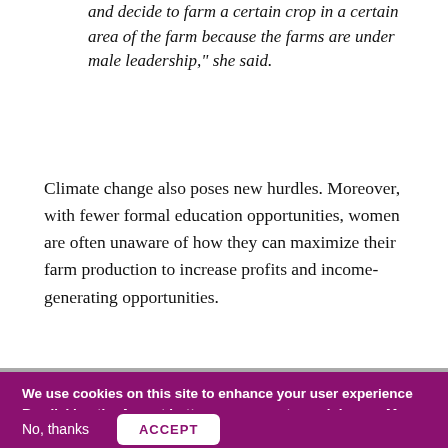and decide to farm a certain crop in a certain area of the farm because the farms are under male leadership," she said.
Climate change also poses new hurdles. Moreover, with fewer formal education opportunities, women are often unaware of how they can maximize their farm production to increase profits and income-generating opportunities.
We use cookies on this site to enhance your user experience
By clicking the Accept button, you agree to us doing so. More info
No, thanks  ACCEPT